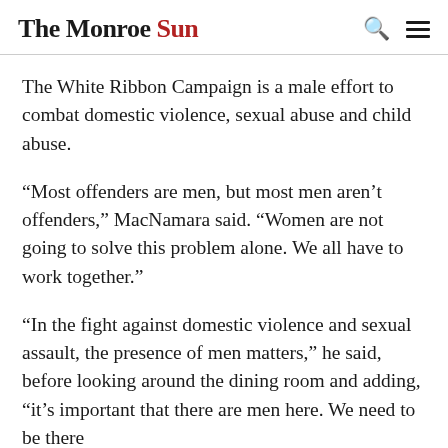The Monroe Sun
The White Ribbon Campaign is a male effort to combat domestic violence, sexual abuse and child abuse.
“Most offenders are men, but most men aren’t offenders,” MacNamara said. “Women are not going to solve this problem alone. We all have to work together.”
“In the fight against domestic violence and sexual assault, the presence of men matters,” he said, before looking around the dining room and adding, “it’s important that there are men here. We need to be there